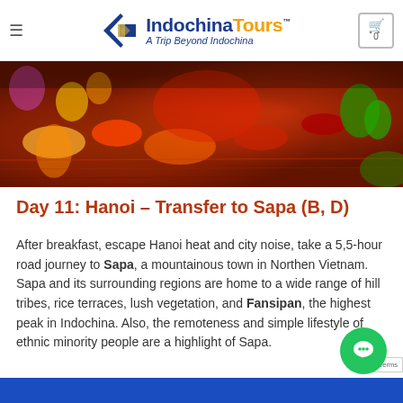Indochina Tours™ — A Trip Beyond Indochina
[Figure (photo): Colorful nighttime reflection of lights on water, red and orange tones with green and purple lanterns]
Day 11: Hanoi – Transfer to Sapa (B, D)
After breakfast, escape Hanoi heat and city noise, take a 5,5-hour road journey to Sapa, a mountainous town in Northen Vietnam. Sapa and its surrounding regions are home to a wide range of hill tribes, rice terraces, lush vegetation, and Fansipan, the highest peak in Indochina. Also, the remoteness and simple lifestyle of ethnic minority people are a highlight of Sapa.